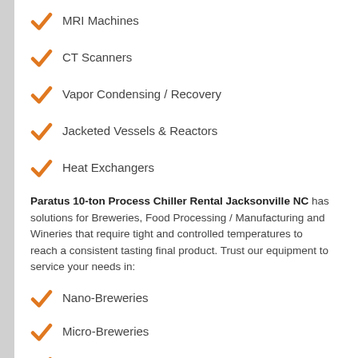MRI Machines
CT Scanners
Vapor Condensing / Recovery
Jacketed Vessels & Reactors
Heat Exchangers
Paratus 10-ton Process Chiller Rental Jacksonville NC has solutions for Breweries, Food Processing / Manufacturing and Wineries that require tight and controlled temperatures to reach a consistent tasting final product. Trust our equipment to service your needs in:
Nano-Breweries
Micro-Breweries
Large Scale Industrial Breweries
Wineries